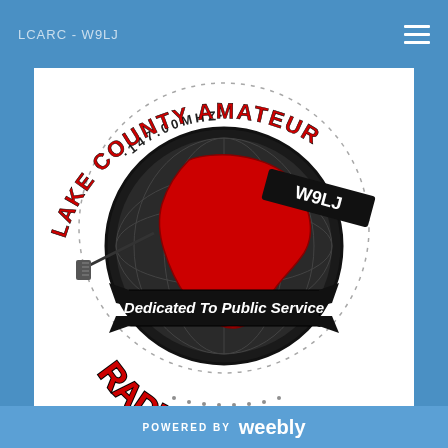LCARC - W9LJ
[Figure (logo): Lake County Amateur Radio Club logo. Circular design with globe showing North America in red, text reading '147.00MHZ', 'LAKE COUNTY AMATEUR' around the top arc, 'W9LJ' callsign on a banner, a black ribbon banner reading 'Dedicated To Public Service', and 'RADIO CLUB' in large red text at the bottom. An antenna element extends to the left.]
POWERED BY weebly